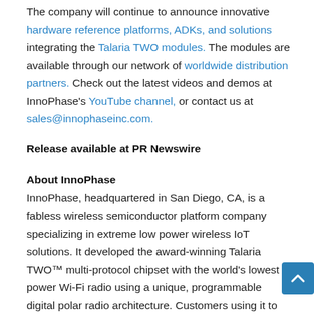The company will continue to announce innovative hardware reference platforms, ADKs, and solutions integrating the Talaria TWO modules. The modules are available through our network of worldwide distribution partners. Check out the latest videos and demos at InnoPhase's YouTube channel, or contact us at sales@innophaseinc.com.
Release available at PR Newswire
About InnoPhase
InnoPhase, headquartered in San Diego, CA, is a fabless wireless semiconductor platform company specializing in extreme low power wireless IoT solutions. It developed the award-winning Talaria TWO™ multi-protocol chipset with the world's lowest power Wi-Fi radio using a unique, programmable digital polar radio architecture. Customers using it to create a wide range of innovative wireless products